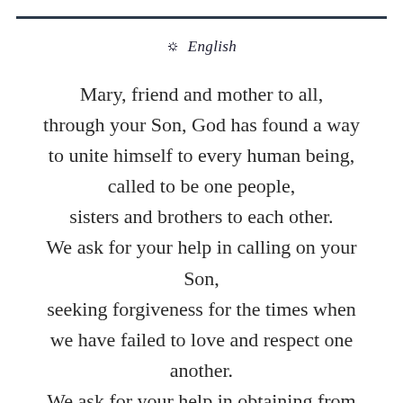🙏 English
Mary, friend and mother to all, through your Son, God has found a way to unite himself to every human being, called to be one people, sisters and brothers to each other. We ask for your help in calling on your Son, seeking forgiveness for the times when we have failed to love and respect one another. We ask for your help in obtaining from your Son the grace we need to overcome the evil